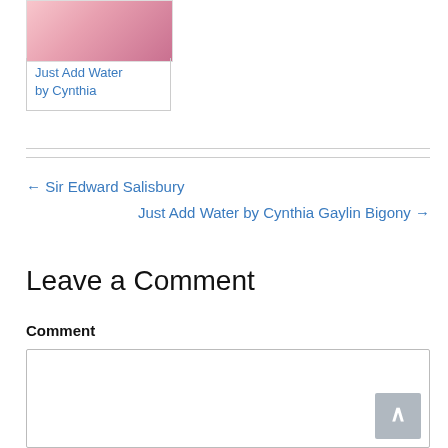[Figure (photo): Book cover thumbnail with pink flowers]
Just Add Water
by Cynthia
← Sir Edward Salisbury
Just Add Water by Cynthia Gaylin Bigony →
Leave a Comment
Comment
[Figure (screenshot): Empty comment textarea input box]